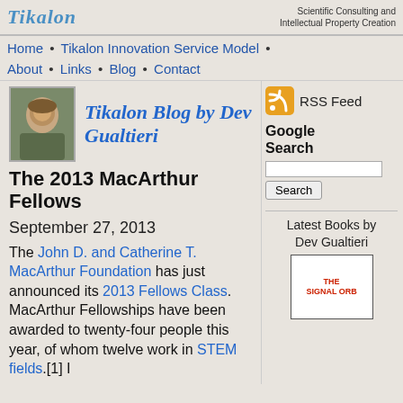Tikalon | Scientific Consulting and Intellectual Property Creation
Home • Tikalon Innovation Service Model • About • Links • Blog • Contact
Tikalon Blog by Dev Gualtieri
The 2013 MacArthur Fellows
September 27, 2013
The John D. and Catherine T. MacArthur Foundation has just announced its 2013 Fellows Class. MacArthur Fellowships have been awarded to twenty-four people this year, of whom twelve work in STEM fields.[1] I
RSS Feed
Google Search
Latest Books by Dev Gualtieri
[Figure (illustration): Book cover for The Signal Orb]